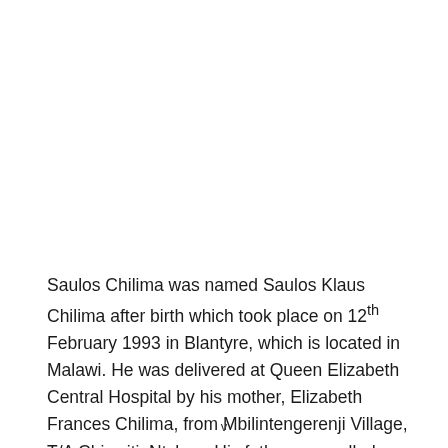Saulos Chilima was named Saulos Klaus Chilima after birth which took place on 12th February 1993 in Blantyre, which is located in Malawi. He was delivered at Queen Elizabeth Central Hospital by his mother, Elizabeth Frances Chilima, from Mbilintengerenji Village, T/A Chigwiti, Ntcheu. His father was called...
v